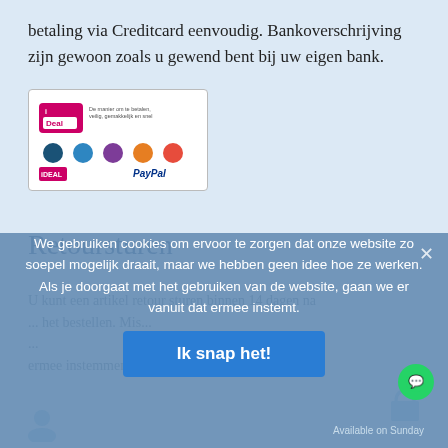betaling via Creditcard eenvoudig. Bankoverschrijving zijn gewoon zoals u gewend bent bij uw eigen bank.
[Figure (other): iDEAL payment logo image showing bank logos and PayPal]
Retoursturen
U kunt een artikel retour sturen binnen 14 dagen na... Als je doorgaat met het gebruiken van de website, gaan we er vanuit... ermee instemmen.
We gebruiken cookies om ervoor te zorgen dat onze website zo soepel mogelijk draait, maar we hebben geen idee hoe ze werken. Als je doorgaat met het gebruiken van de website, gaan we er vanuit dat ermee instemt.
Ik snap het!
Available on Sunday